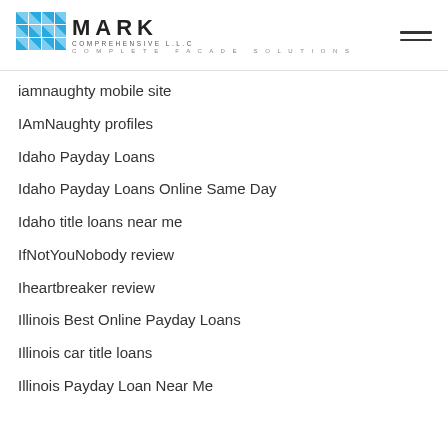MARK COMPREHENSIVE L.L.C COMPLETE FACADE SOLUTIONS
iamnaughty mobile site
IAmNaughty profiles
Idaho Payday Loans
Idaho Payday Loans Online Same Day
Idaho title loans near me
IfNotYouNobody review
Iheartbreaker review
Illinois Best Online Payday Loans
Illinois car title loans
Illinois Payday Loan Near Me